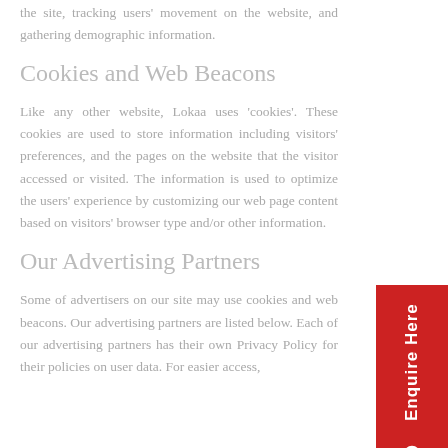the site, tracking users' movement on the website, and gathering demographic information.
Cookies and Web Beacons
Like any other website, Lokaa uses 'cookies'. These cookies are used to store information including visitors' preferences, and the pages on the website that the visitor accessed or visited. The information is used to optimize the users' experience by customizing our web page content based on visitors' browser type and/or other information.
Our Advertising Partners
Some of advertisers on our site may use cookies and web beacons. Our advertising partners are listed below. Each of our advertising partners has their own Privacy Policy for their policies on user data. For easier access, hyperlinked their Privacy Policy below.